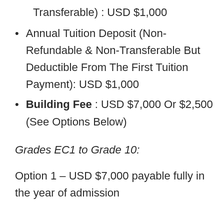Transferable) : USD $1,000
Annual Tuition Deposit (Non-Refundable & Non-Transferable But Deductible From The First Tuition Payment): USD $1,000
Building Fee : USD $7,000 Or $2,500 (See Options Below)
Grades EC1 to Grade 10:
Option 1 – USD $7,000 payable fully in the year of admission